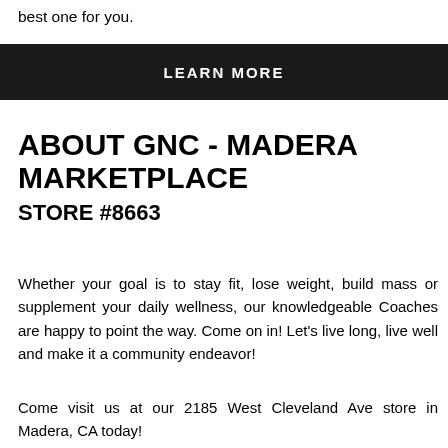best one for you.
[Figure (other): Black banner button with white bold uppercase text reading LEARN MORE]
ABOUT GNC - MADERA MARKETPLACE
STORE #8663
Whether your goal is to stay fit, lose weight, build mass or supplement your daily wellness, our knowledgeable Coaches are happy to point the way. Come on in! Let's live long, live well and make it a community endeavor!
Come visit us at our 2185 West Cleveland Ave store in Madera, CA today!